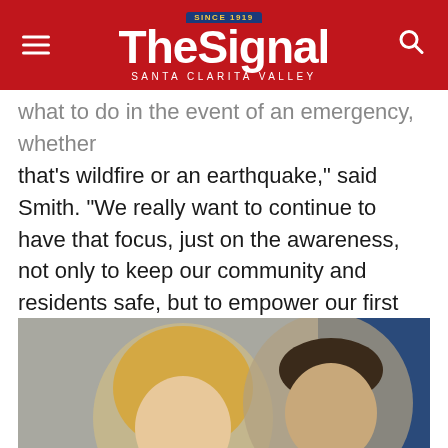The Signal — Santa Clarita Valley
what to do in the event of an emergency, whether that's wildfire or an earthquake," said Smith. "We really want to continue to have that focus, just on the awareness, not only to keep our community and residents safe, but to empower our first responders to do their jobs in the times of these emergencies."
[Figure (photo): A blonde woman and a uniformed male sheriff's officer standing together in front of a gray and blue background.]